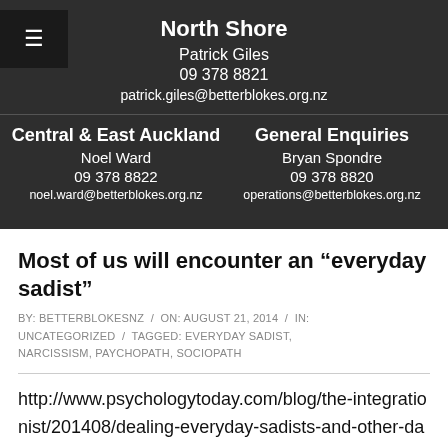North Shore
Patrick  Giles
09 378 8821
patrick.giles@betterblokes.org.nz
Central & East Auckland
Noel Ward
09 378 8822
noel.ward@betterblokes.org.nz
General Enquiries
Bryan Spondre
09 378 8820
operations@betterblokes.org.nz
Most of us will encounter an “everyday sadist”
BY: BETTERBLOKESNZ / ON: AUGUST 21, 2014 / IN: UNCATEGORIZED / TAGGED: EVERYDAY SADIST, NARCISSISM, PAYCHOPATH, SOCIOPATH
http://www.psychologytoday.com/blog/the-integrationist/201408/dealing-everyday-sadists-and-other-dark-personalities